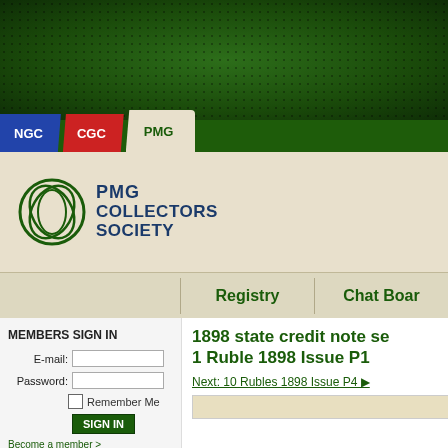[Figure (screenshot): PMG Collectors Society website screenshot showing green header with dot pattern, navigation tabs (NGC, CGC, PMG), PMG Collectors Society logo, Registry and Chat Board navigation, Members Sign In form on left, and 1898 state credit note set / 1 Ruble 1898 Issue P1 heading on right with Next link and image area below.]